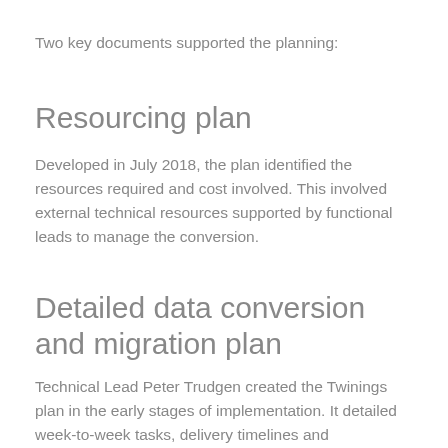Two key documents supported the planning:
Resourcing plan
Developed in July 2018, the plan identified the resources required and cost involved. This involved external technical resources supported by functional leads to manage the conversion.
Detailed data conversion and migration plan
Technical Lead Peter Trudgen created the Twinings plan in the early stages of implementation. It detailed week-to-week tasks, delivery timelines and accountabilities…